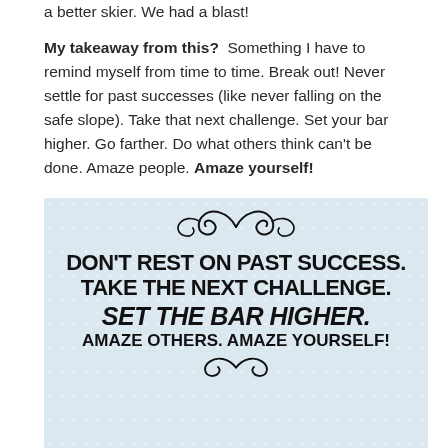a better skier. We had a blast! My takeaway from this?  Something I have to remind myself from time to time. Break out! Never settle for past successes (like never falling on the safe slope). Take that next challenge. Set your bar higher. Go farther. Do what others think can't be done. Amaze people. Amaze yourself!
[Figure (illustration): Motivational quote card with light blue speckled background and decorative swirls. Text reads: DON'T REST ON PAST SUCCESS. TAKE THE NEXT CHALLENGE. SET THE BAR HIGHER. AMAZE OTHERS. AMAZE YOURSELF!]